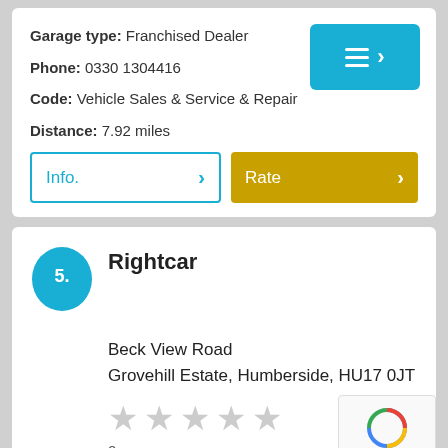Garage type: Franchised Dealer
Phone: 0330 1304416
Code: Vehicle Sales & Service & Repair
Distance: 7.92 miles
Info.
Rate
5. Rightcar
Beck View Road
Grovehill Estate, Humberside, HU17 0JT
0 surveys